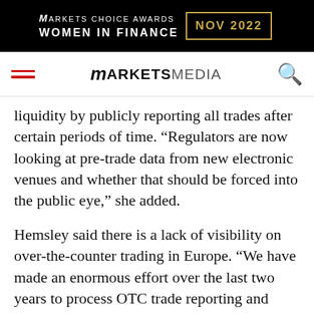[Figure (logo): Markets Choice Awards Women in Finance NOV 2022 banner advertisement on black background with gold border date box]
MARKETS MEDIA navigation bar with hamburger menu, logo, and search icon
liquidity by publicly reporting all trades after certain periods of time. “Regulators are now looking at pre-trade data from new electronic venues and whether that should be forced into the public eye,” she added.
Hemsley said there is a lack of visibility on over-the-counter trading in Europe. “We have made an enormous effort over the last two years to process OTC trade reporting and provide facilities so these trades can be